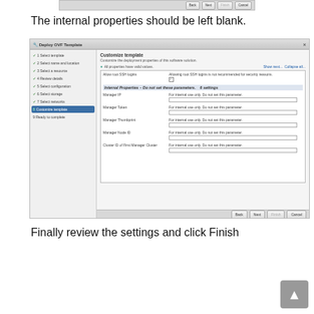[Figure (screenshot): Partial top screenshot of Deploy OVF Template wizard showing Back, Next, Finish, Cancel buttons]
The internal properties should be left blank.
[Figure (screenshot): Deploy OVF Template wizard showing Customize template step with internal properties section. Sidebar shows steps 1-9 with step 8 Customize template selected. Main panel shows fields: Allow root SSH logins, Internal Properties section with Manager IP, Manager Token, Manager Thumbprint, Manager Node ID, Cluster ID of First Manager Cluster - all with 'For internal use only. Do not set this parameter.' descriptions and empty input fields.]
Finally review the settings and click Finish